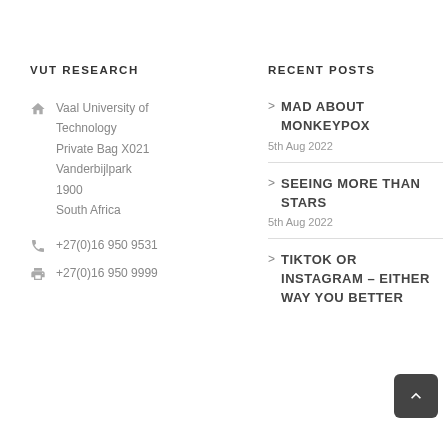VUT RESEARCH
Vaal University of Technology
Private Bag X021
Vanderbijlpark
1900
South Africa
+27(0)16 950 9531
+27(0)16 950 9999
RECENT POSTS
MAD ABOUT MONKEYPOX
5th Aug 2022
SEEING MORE THAN STARS
5th Aug 2022
TIKTOK OR INSTAGRAM – EITHER WAY YOU BETTER